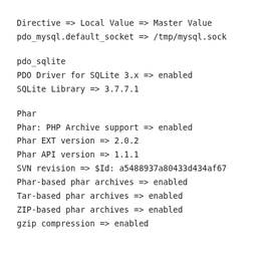Directive => Local Value => Master Value
pdo_mysql.default_socket => /tmp/mysql.sock
pdo_sqlite
PDO Driver for SQLite 3.x => enabled
SQLite Library => 3.7.7.1
Phar
Phar: PHP Archive support => enabled
Phar EXT version => 2.0.2
Phar API version => 1.1.1
SVN revision => $Id: a5488937a80433d434af67
Phar-based phar archives => enabled
Tar-based phar archives => enabled
ZIP-based phar archives => enabled
gzip compression => enabled